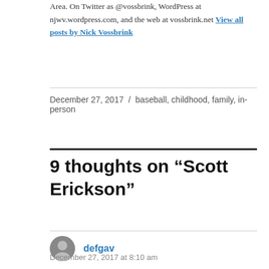Area. On Twitter as @vossbrink, WordPress at njwv.wordpress.com, and the web at vossbrink.net View all posts by Nick Vossbrink
December 27, 2017 / baseball, childhood, family, in-person
9 thoughts on “Scott Erickson”
defgav
December 27, 2017 at 8:10 am
Very cool. I’m also down with Scott Erickson,